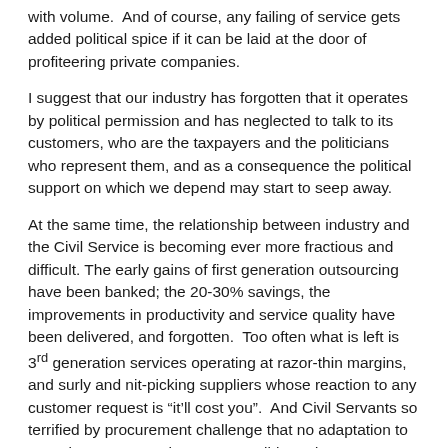with volume.  And of course, any failing of service gets added political spice if it can be laid at the door of profiteering private companies.
I suggest that our industry has forgotten that it operates by political permission and has neglected to talk to its customers, who are the taxpayers and the politicians who represent them, and as a consequence the political support on which we depend may start to seep away.
At the same time, the relationship between industry and the Civil Service is becoming ever more fractious and difficult. The early gains of first generation outsourcing have been banked; the 20-30% savings, the improvements in productivity and service quality have been delivered, and forgotten.  Too often what is left is 3rd generation services operating at razor-thin margins, and surly and nit-picking suppliers whose reaction to any customer request is “it’ll cost you”.  And Civil Servants so terrified by procurement challenge that no adaptation to new circumstances, however sensible and advantageous to supplier and customer, is possible.
We forget at our peril that our customers have been on their own journey; whilst we talk of our much vaulted abilities to deliver transformation, we should not forget the fact that